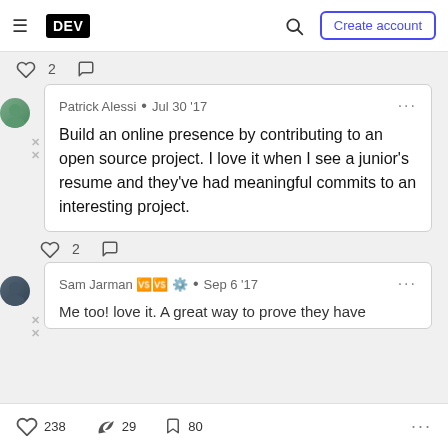DEV — Create account
♡ 2  ○
Patrick Alessi • Jul 30 '17
Build an online presence by contributing to an open source project. I love it when I see a junior's resume and they've had meaningful commits to an interesting project.
♡ 2  ○
Sam Jarman 🎪 🔧 • Sep 6 '17
Me too! love it. A great way to prove they have
♡ 238   29   80   ...